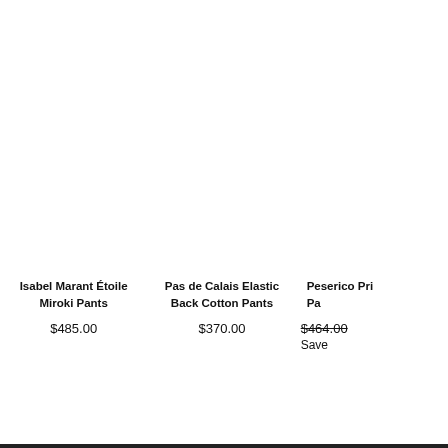[Figure (photo): Product image area for Isabel Marant Étoile Miroki Pants (white/blank)]
Isabel Marant Étoile Miroki Pants
$485.00
[Figure (photo): Product image area for Pas de Calais Elastic Back Cotton Pants (white/blank)]
Pas de Calais Elastic Back Cotton Pants
$370.00
[Figure (photo): Product image area for Peserico Pri... Pa... (partially visible, white/blank)]
Peserico Pri... Pa...
$464.00 (strikethrough)
Save